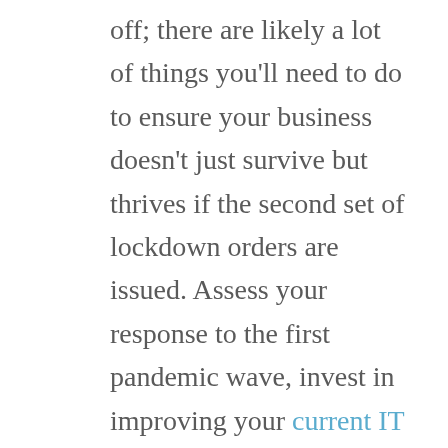off; there are likely a lot of things you'll need to do to ensure your business doesn't just survive but thrives if the second set of lockdown orders are issued. Assess your response to the first pandemic wave, invest in improving your current IT set-up and ensure your employees have the tools and training needed to handle any responsibilities they may need to take on in the near future. The benefits of doing so are more than worth the time, hassle, expense, and effort.